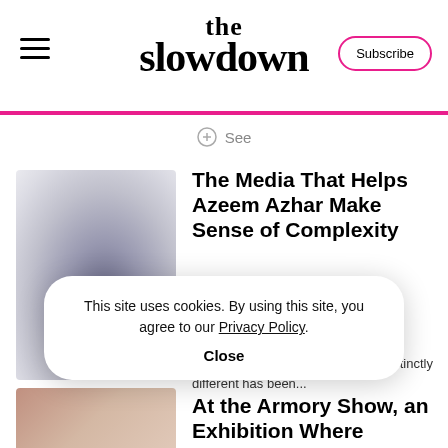the slowdown
See
The Media That Helps Azeem Azhar Make Sense of Complexity
“In the last few years, something distinctly different has been...
This site uses cookies. By using this site, you agree to our Privacy Policy. Close
At the Armory Show, an Exhibition Where